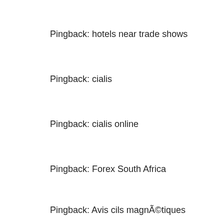Pingback: hotels near trade shows
Pingback: cialis
Pingback: cialis online
Pingback: Forex South Africa
Pingback: Avis cils magnétiques